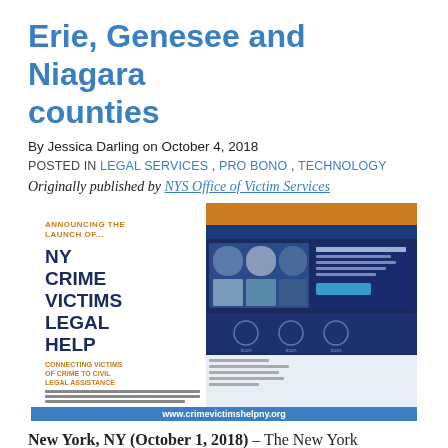Erie, Genesee and Niagara counties
By Jessica Darling on October 4, 2018
POSTED IN LEGAL SERVICES, PRO BONO, TECHNOLOGY
Originally published by NYS Office of Victim Services
[Figure (illustration): NY Crime Victims Legal Help announcement graphic showing website screenshot. Text includes: ANNOUNCING THE LAUNCH OF... NY CRIME VICTIMS LEGAL HELP, CONNECTING VICTIMS OF CRIME TO CIVIL LEGAL ASSISTANCE, www.crimevictimshelpny.org]
New York, NY (October 1, 2018) – The New York